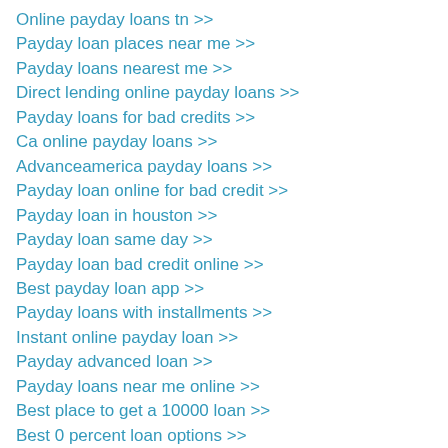Online payday loans tn >>
Payday loan places near me >>
Payday loans nearest me >>
Direct lending online payday loans >>
Payday loans for bad credits >>
Ca online payday loans >>
Advanceamerica payday loans >>
Payday loan online for bad credit >>
Payday loan in houston >>
Payday loan same day >>
Payday loan bad credit online >>
Best payday loan app >>
Payday loans with installments >>
Instant online payday loan >>
Payday advanced loan >>
Payday loans near me online >>
Best place to get a 10000 loan >>
Best 0 percent loan options >>
Best construction to permanent loan >>